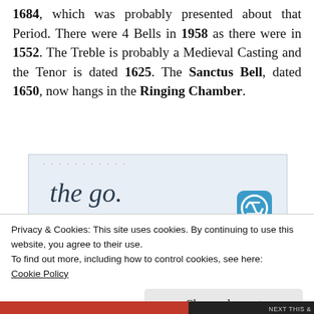1684, which was probably presented about that Period. There were 4 Bells in 1958 as there were in 1552. The Treble is probably a Medieval Casting and the Tenor is dated 1625. The Sanctus Bell, dated 1650, now hangs in the Ringing Chamber.
[Figure (screenshot): Advertisement banner with light blue background showing 'the go.' in large italic text and 'GET THE APP' link with WordPress logo]
Privacy & Cookies: This site uses cookies. By continuing to use this website, you agree to their use.
To find out more, including how to control cookies, see here:
Cookie Policy
Close and accept